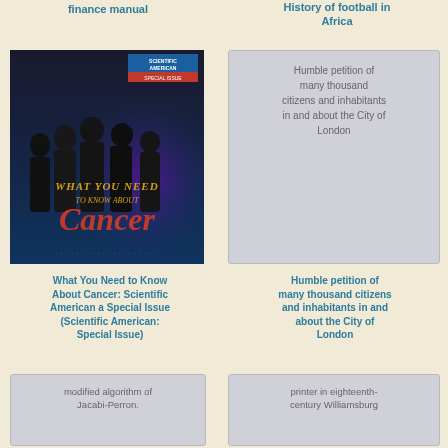finance manual
History of football in Africa
[Figure (photo): Book cover: What You Need to Know About Cancer - Scientific American Special Issue. Dark cover with silhouettes of people and red/gold title text.]
[Figure (other): Gray placeholder card with text: Humble petition of many thousand citizens and inhabitants in and about the City of London]
What You Need to Know About Cancer: Scientific American a Special Issue (Scientific American: Special Issue)
Humble petition of many thousand citizens and inhabitants in and about the City of London
[Figure (other): Gray placeholder card with text: modified algorithm of Jacabi-Perron.]
[Figure (other): Gray placeholder card with text: printer in eighteenth-century Williamsburg]